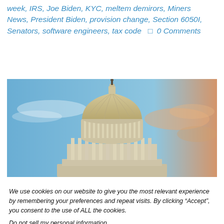week, IRS, Joe Biden, KYC, meltem demirors, Miners News, President Biden, provision change, Section 6050I, Senators, software engineers, tax code  □ 0 Comments
[Figure (photo): Photo of the United States Capitol building dome against a blue and orange sunset sky]
We use cookies on our website to give you the most relevant experience by remembering your preferences and repeat visits. By clicking “Accept”, you consent to the use of ALL the cookies.
Do not sell my personal information.